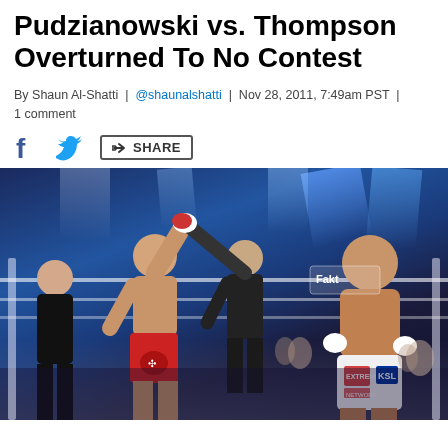Pudzianowski vs. Thompson Overturned To No Contest
By Shaun Al-Shatti | @shaunalshatti | Nov 28, 2011, 7:49am PST | 1 comment
[Figure (photo): Two MMA fighters in a boxing ring after their match. One fighter (in red shorts) has his hand raised by the referee in a victory pose, while the other fighter (in white shorts with KSL branding) walks away to the right. The arena is lit with blue stage lights.]